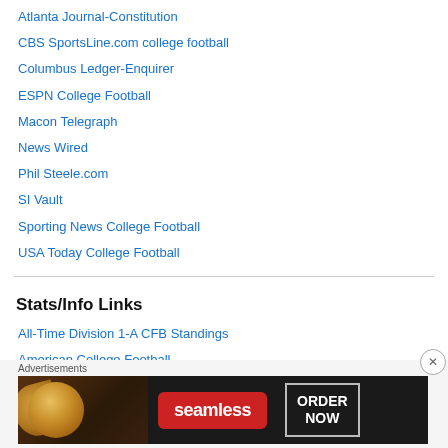Atlanta Journal-Constitution
CBS SportsLine.com college football
Columbus Ledger-Enquirer
ESPN College Football
Macon Telegraph
News Wired
Phil Steele.com
SI Vault
Sporting News College Football
USA Today College Football
Stats/Info Links
All-Time Division 1-A CFB Standings
American College Football
[Figure (infographic): Seamless food ordering advertisement banner with pizza image on left, Seamless logo in red box, and ORDER NOW text in bordered box on dark background]